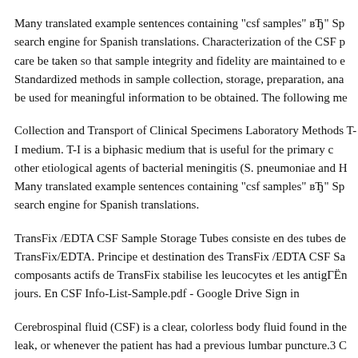Many translated example sentences containing "csf samples" вЂ" Sp search engine for Spanish translations. Characterization of the CSF p care be taken so that sample integrity and fidelity are maintained to e Standardized methods in sample collection, storage, preparation, ana be used for meaningful information to be obtained. The following me
Collection and Transport of Clinical Specimens Laboratory Methods T-I medium. T-I is a biphasic medium that is useful for the primary c other etiological agents of bacterial meningitis (S. pneumoniae and H Many translated example sentences containing "csf samples" вЂ" Sp search engine for Spanish translations.
TransFix /EDTA CSF Sample Storage Tubes consiste en des tubes de TransFix/EDTA. Principe et destination des TransFix /EDTA CSF Sa composants actifs de TransFix stabilise les leucocytes et les antigГЁn jours. En CSF Info-List-Sample.pdf - Google Drive Sign in
Cerebrospinal fluid (CSF) is a clear, colorless body fluid found in the leak, or whenever the patient has had a previous lumbar puncture.3 C